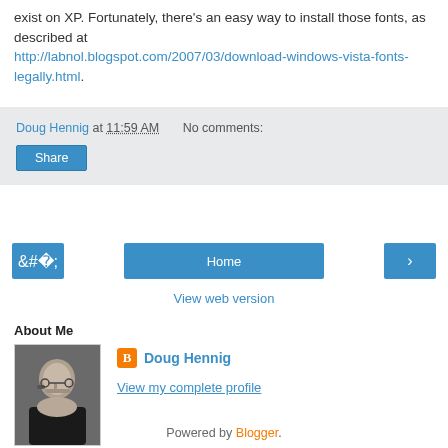exist on XP. Fortunately, there's an easy way to install those fonts, as described at http://labnol.blogspot.com/2007/03/download-windows-vista-fonts-legally.html.
Doug Hennig at 11:59 AM   No comments:
Share
‹   Home   ›
View web version
About Me
[Figure (photo): Profile photo of Doug Hennig, a man with glasses and a mustache wearing a dark shirt]
Doug Hennig
View my complete profile
Powered by Blogger.